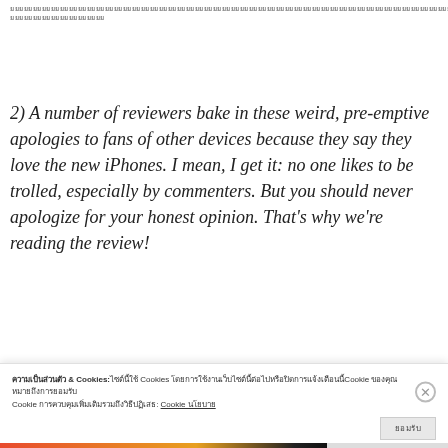ยยยยยยยยยยยยยยยยยยยยยยยยยยยยยยยยยยยยยยยยยยยยยยยยยยยยยยยยยยยยยยยยยยยยยยยยยยยยยยยยยยยยยยยยยยยยยยยยยยยยยยยยยยยยยยยยยยยยยยยยยยยยยยยยยยยยยยยยยยยยยยยยยยยยยยยยยยยยยยยยยยยยยยยยยยยยยยยยยยยยยยยยยยยยยยยยยยยยยยยยยยยยยยยยยยยยยยยยยยยยยยยยยยยยยยยยยยยยยยยยยยยยยยยยยยยยยยยยยย
2) A number of reviewers bake in these weird, pre-emptive apologies to fans of other devices because they say they love the new iPhones. I mean, I get it: no one likes to be trolled, especially by commenters. But you should never apologize for your honest opinion. That's why we're reading the review!
[Figure (screenshot): CrowdSignal advertisement banner with dark blue/teal background, WordPress logo on the left and CrowdSignal logo on the right in a dotted circle border]
ความเป็นส่วนตัว & Cookies:ไซต์นี้ใช้ Cookies โดยการใช้งานเว็บไซต์นี้ต่อไปหรือปิดการแจ้งเตือนนี้Cookie ของคุณหมายถึงการยอมรับ Cookie การควบคุมเพิ่มเติมรวมถึงวิธีปฏิเสธ: Cookie นโยบาย
ยอมรับ